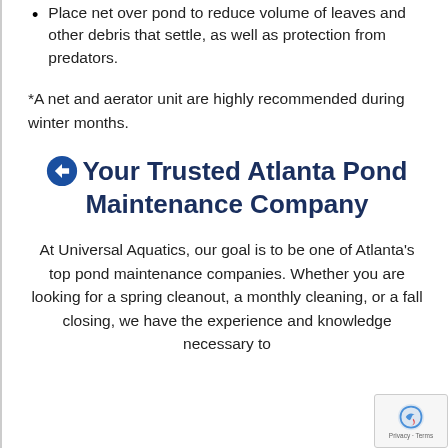Place net over pond to reduce volume of leaves and other debris that settle, as well as protection from predators.
*A net and aerator unit are highly recommended during winter months.
Your Trusted Atlanta Pond Maintenance Company
At Universal Aquatics, our goal is to be one of Atlanta's top pond maintenance companies. Whether you are looking for a spring cleanout, a monthly cleaning, or a fall closing, we have the experience and knowledge necessary to